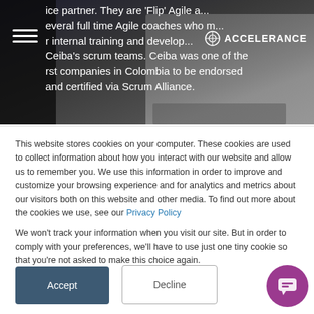[Figure (screenshot): Hero section of Accelerance website showing dark background with laptop/hands image. Hamburger menu icon on left, Accelerance logo with circular icon on right. White text partially visible showing content about Ceiba's scrum teams and Colombia endorsement.]
This website stores cookies on your computer. These cookies are used to collect information about how you interact with our website and allow us to remember you. We use this information in order to improve and customize your browsing experience and for analytics and metrics about our visitors both on this website and other media. To find out more about the cookies we use, see our Privacy Policy

We won't track your information when you visit our site. But in order to comply with your preferences, we'll have to use just one tiny cookie so that you're not asked to make this choice again.
Accept
Decline